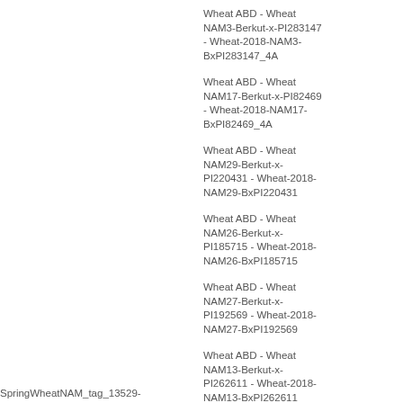Wheat ABD - Wheat NAM3-Berkut-x-PI283147 - Wheat-2018-NAM3-BxPI283147_4A
Wheat ABD - Wheat NAM17-Berkut-x-PI82469 - Wheat-2018-NAM17-BxPI82469_4A
Wheat ABD - Wheat NAM29-Berkut-x-PI220431 - Wheat-2018-NAM29-BxPI220431
Wheat ABD - Wheat NAM26-Berkut-x-PI185715 - Wheat-2018-NAM26-BxPI185715
Wheat ABD - Wheat NAM27-Berkut-x-PI192569 - Wheat-2018-NAM27-BxPI192569
Wheat ABD - Wheat NAM13-Berkut-x-PI262611 - Wheat-2018-NAM13-BxPI262611
Wheat ABD - Wheat NAM10-Berkut-x-PI...
SpringWheatNAM_tag_13529-